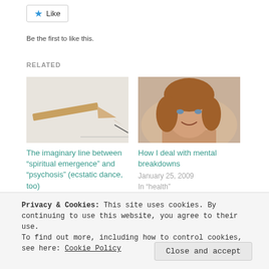[Figure (other): Like button with blue star icon]
Be the first to like this.
RELATED
[Figure (photo): Image of a pencil tip drawing a line]
The imaginary line between "spiritual emergence" and "psychosis" (ecstatic dance, too)
January 6, 2019
[Figure (photo): Portrait photo of a woman with brown hair smiling]
How I deal with mental breakdowns
January 25, 2009
In "health"
Privacy & Cookies: This site uses cookies. By continuing to use this website, you agree to their use.
To find out more, including how to control cookies, see here: Cookie Policy
Close and accept